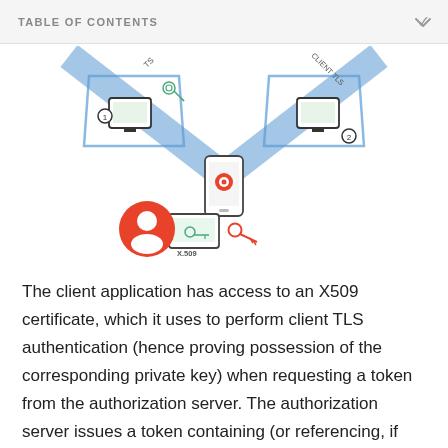TABLE OF CONTENTS
[Figure (schematic): Network authentication diagram showing two client TLS endpoints (labeled 1 and 2) connected via diagonal blue lines to a central point, with a mobile phone and a user/person icon with an X.509 certificate and key at the bottom center.]
The client application has access to an X509 certificate, which it uses to perform client TLS authentication (hence proving possession of the corresponding private key) when requesting a token from the authorization server. The authorization server issues a token containing (or referencing, if other token encoding methods are used) a claim cnf carrying the thumbprint of the X.509 certificate used to establish the channel. Important note: the